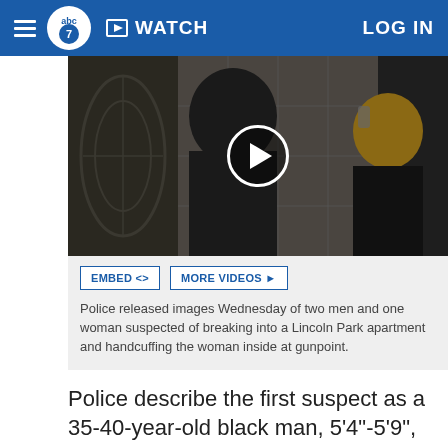abc7 | WATCH | LOG IN
[Figure (screenshot): Surveillance video still showing two people in dark clothing in a building lobby or hallway, with a play button overlay indicating a video player.]
Police released images Wednesday of two men and one woman suspected of breaking into a Lincoln Park apartment and handcuffing the woman inside at gunpoint.
Police describe the first suspect as a 35-40-year-old black man, 5'4"-5'9", 150-175 lbs, brown eyes and black hair in braids and was wearing black pants, a